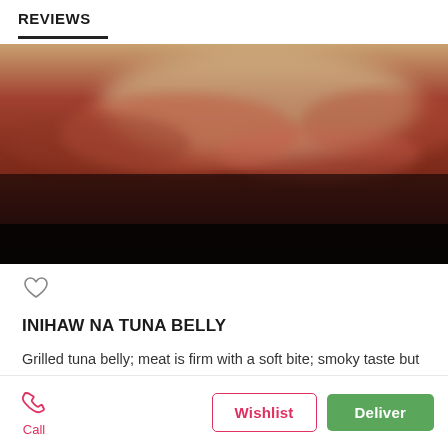REVIEWS
[Figure (photo): Blurred food photo showing grilled tuna belly dish with reddish-brown tones, dark at the bottom, lighter/yellowish at the top]
INIHAW NA TUNA BELLY
Grilled tuna belly; meat is firm with a soft bite; smoky taste but slightly dry; the bottom part of the tuna belly is quite rubbery though..
Call | Wishlist | Deliver